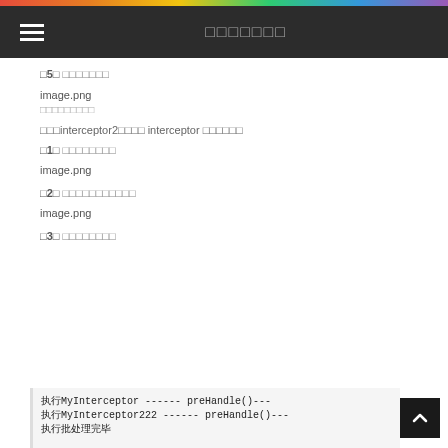□□□□□□□
□5□ □□□□□□□
image.png
□□□□□□□□□
□□□interceptor2□□□□ interceptor □□□□□□
□1□ □□□□□□□□
image.png
□2□ □□□□□□□□□□□
image.png
□3□ □□□□□□□□
[Figure (screenshot): Code output showing: 执行MyInterceptor ------ preHandle()--- / 执行MyInterceptor222 ------ preHandle()--- / 执行批处理完毕]